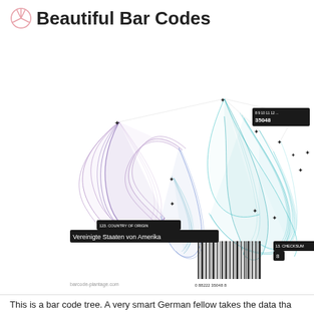Beautiful Bar Codes
[Figure (infographic): A bar code tree visualization showing flowing ribbon-like curves in purple and teal connecting multiple star/point nodes across a white background, with tooltip labels including '123 COUNTRY OF ORIGIN / Vereinigte Staaten von Amerika' and '13 CHECKSUM / 8', and a barcode '0 88222 35048 8' at the bottom. The image is attributed to 'barcode-plantage.com'. In the upper right corner a dark tooltip reads '8 9 10 11 12 ... / 35048'.]
This is a bar code tree. A very smart German fellow takes the data tha